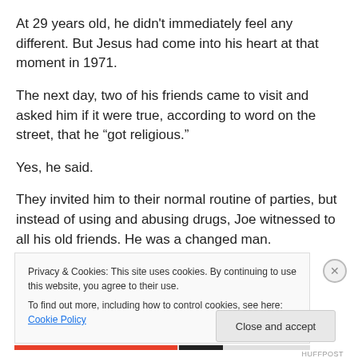At 29 years old, he didn't immediately feel any different. But Jesus had come into his heart at that moment in 1971.
The next day, two of his friends came to visit and asked him if it were true, according to word on the street, that he “got religious.”
Yes, he said.
They invited him to their normal routine of parties, but instead of using and abusing drugs, Joe witnessed to all his old friends. He was a changed man.
Privacy & Cookies: This site uses cookies. By continuing to use this website, you agree to their use.
To find out more, including how to control cookies, see here: Cookie Policy
Close and accept